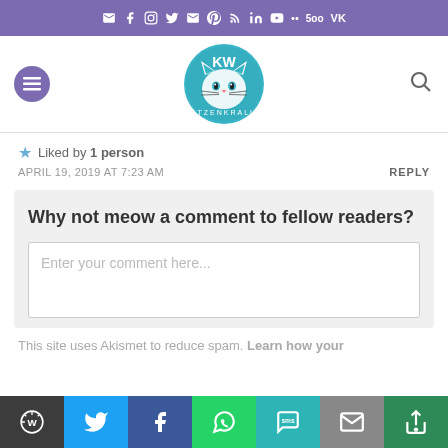Social sharing icon bar (email, facebook, instagram, twitter, mail, pinterest, rss, linkedin, youtube, 500px, vk)
[Figure (logo): KatzenKrallo blog logo - circular badge with cat face illustration in teal/blue, letters KW on top]
Liked by 1 person
APRIL 19, 2019 AT 7:23 AM
REPLY
Why not meow a comment to fellow readers?
Enter your comment here...
This site uses Akismet to reduce spam. Learn how your
Share buttons: WordPress, Twitter, Facebook, WhatsApp, SMS, Email, More